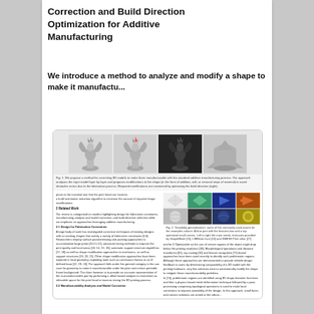Correction and Build Direction Optimization for Additive Manufacturing
We introduce a method to analyze and modify a shape to make it manufactu...
[Figure (photo): Four 3D models of a dragon-like figure shown at different stages: original, with support structures, with modifications, and final manufacturable form.]
Fig. 1. We propose a method for correcting 3D models to make them manufacturable with the standard additive manufacturing process. Our approach analyses the input model layer by layer and proposes modifications to the shape (in the form of addition, edit, or removal steps of material) to avoid obstacles errors due to the fabrication process. Required modifications are minimized by optimizing the build direction (right).
priors to the maximal size that the print head can traverse.
a build orientation reduction algorithm to minimize the amount of required shape modifications.
2 Related Work
Our review is categorised on studies highlighting design for fabrication constraints, manufacturing analysis and model correction, and build direction selection while we emphasis on approaches leveraging additive manufacturing.
2.1 Design for Fabrication Constraints
A large body of work has investigated correction techniques of existing designs with an existing shapes that satisfy a variety of fabrication constraints [6,9]. Researchers employ surface parameterising and packing approaches to accommodate large prints [10,11,12], advanced slicing methods to improve the print quality and local areas [13, 14, 15, 16], automatic support structure algorithms [17, 18] as well as shape modification approaches to mechanics, as well as support structures [19, 20, 21]. Other shape modification approaches have been explored in local geometry, exploiting tools such as continuous frames or an ill defined base [22, 23, 24]. Our approach falls under this general category in the use case for geometry to make it manufacturable under the plain and certain printable frame background. Our claim however is to provide an accurate representation of the in-manufacturable part by performing a offset based analysis to enumerate an infeasible space for the print head to traverse during the 3D printing process.
2.2 Manufacturability Analysis and Model Correction
[Figure (photo): Grid of 8 small images showing various 3D model examples used in fabrication analysis, including teal, blue, orange, gray, and yellow colored objects.]
Fig. 2. Testability generalization: some of the commonly used assets for the examples column. A blue part with the features box and a top optimized small convex. Left to right the main seeds, testcases provided by SimpleMesh [25], LIBMesh-Core [26] and SMESH Print other [27].
and be 3 Optimizable as the use of certain regions of the object might drop below the printing resolution [18]. Morphological operations and distance transforms [31], ray casting [32] and feature recognition [71] based approaches have been used recently to identify such problematic regions. Although these approaches are demonstrated to provide reliable design feedback to users by determining computability of a 3D model with the printing hardware, very few solutions exist to automatically modify the shape to mitigate these manufacturability problems.
In [74], problematic regions are identified using 3D shape diameter functions and then a physics based mesh deformation technique followed by a post-processing comprising topological operations is used to make local corrections to improve printability of the design. In this approach, small faces and convex solutions are aimed at the robust...